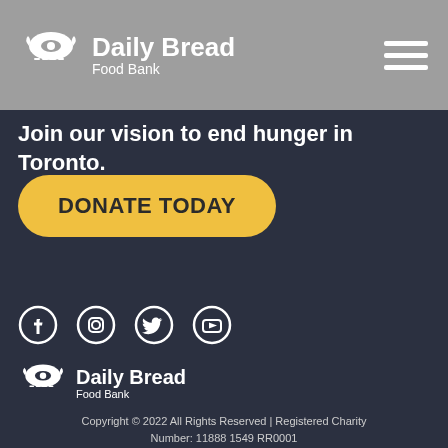[Figure (logo): Daily Bread Food Bank logo with icon in header navigation bar]
Join our vision to end hunger in Toronto.
DONATE TODAY
[Figure (logo): Social media icons: Facebook, Instagram, Twitter, YouTube]
[Figure (logo): Daily Bread Food Bank footer logo]
Copyright © 2022 All Rights Reserved | Registered Charity Number: 11888 1549 RR0001